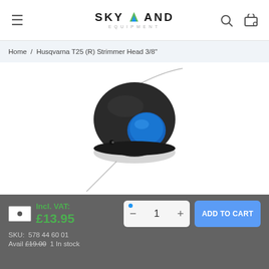SKYLAND EQUIPMENT
Home / Husqvarna T25 (R) Strimmer Head 3/8"
[Figure (photo): Husqvarna T25 strimmer head with blue bump button and two trimmer lines extending from it, shown on white background]
Incl. VAT: £13.95
SKU: 578 44 60 01
Availability: £19.00 1 In stock